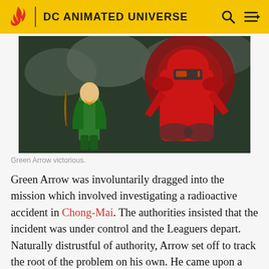DC ANIMATED UNIVERSE
[Figure (photo): Green Arrow in green costume confronting a large red flaming creature against a smoky background.]
Green Arrow victorious.
Green Arrow was involuntarily dragged into the mission which involved investigating a radioactive accident in Chong-Mai. The authorities insisted that the incident was under control and the Leaguers depart. Naturally distrustful of authority, Arrow set off to track the root of the problem on his own. He came upon a gigantic flaming creature that blazed everything that crossed its path. Green Arrow attempted to repel it with his explosive arrows, but all in vain. Upon Captain Atom's failure to shut